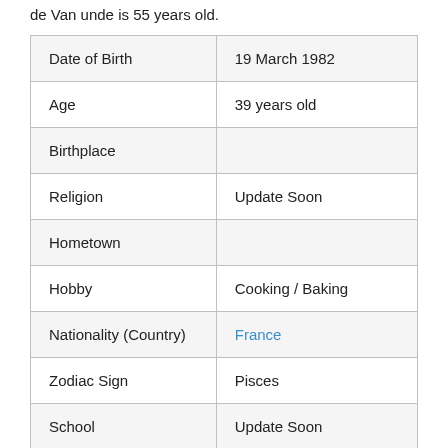de Van unde is 55 years old.
|  |  |
| --- | --- |
| Date of Birth | 19 March 1982 |
| Age | 39 years old |
| Birthplace |  |
| Religion | Update Soon |
| Hometown |  |
| Hobby | Cooking / Baking |
| Nationality (Country) | France |
| Zodiac Sign | Pisces |
| School | Update Soon |